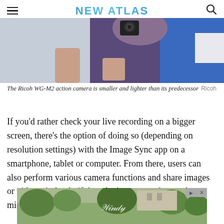NEW ATLAS
[Figure (photo): Partial photo of person holding a Ricoh WG-M2 action camera, showing arms in blue and white clothing with the camera visible at top]
The Ricoh WG-M2 action camera is smaller and lighter than its predecessor  Ricoh
If you'd rather check your live recording on a bigger screen, there's the option of doing so (depending on resolution settings) with the Image Sync app on a smartphone, tablet or computer. From there, users can also perform various camera functions and share images or video wirelessly if they don't want to take out the micro SD memory card.
[Figure (photo): Advertisement banner at bottom of page showing outdoor/garden scene with decorative text overlay]